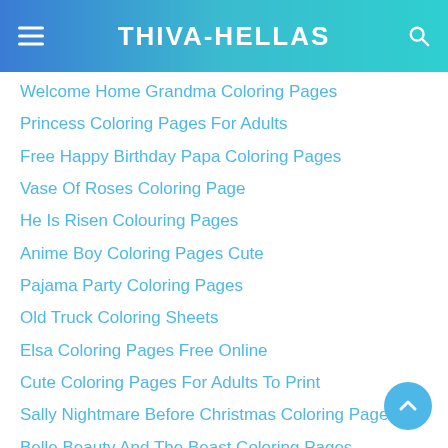THIVA-HELLAS
Welcome Home Grandma Coloring Pages
Princess Coloring Pages For Adults
Free Happy Birthday Papa Coloring Pages
Vase Of Roses Coloring Page
He Is Risen Colouring Pages
Anime Boy Coloring Pages Cute
Pajama Party Coloring Pages
Old Truck Coloring Sheets
Elsa Coloring Pages Free Online
Cute Coloring Pages For Adults To Print
Sally Nightmare Before Christmas Coloring Pages
Belle Beauty And The Beast Coloring Pages
Mythical Pokemon Coloring Pages
Mha Coloring Pages Online
Dexter's Lab Coloring Pages
Black And White Coloring Pages Of Unicorns